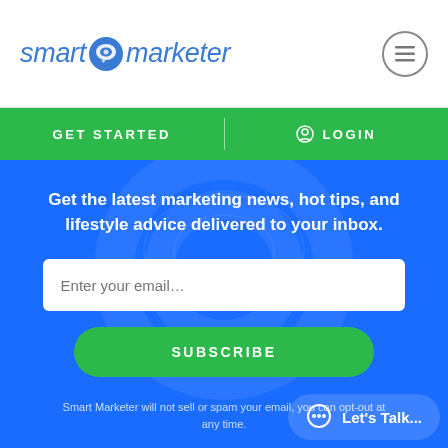[Figure (logo): Smart Marketer logo with speech bubble icon in blue/teal]
GET STARTED   LOGIN
Get the latest marketing news, hot tips, and lifestyle advice delivered to your inbox.
Enter your email
SUBSCRIBE
Smart Marketer will not sell or spam your email, you can opt-out at any time.